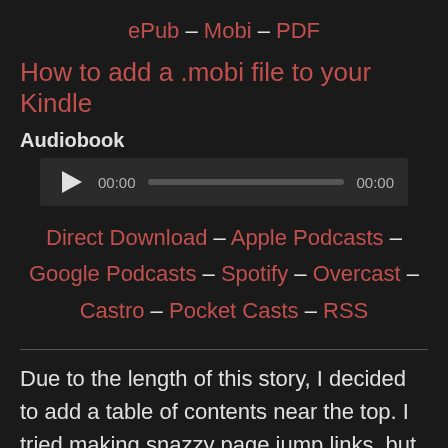ePub – Mobi – PDF
How to add a .mobi file to your Kindle
Audiobook
[Figure (other): Audio player widget with play button, time display 00:00, progress bar, and end time 00:00]
Direct Download – Apple Podcasts – Google Podcasts – Spotify – Overcast – Castro – Pocket Casts – RSS
Due to the length of this story, I decided to add a table of contents near the top. I tried making snazzy page jump links, but WordPress gave me formatting issues. So I suggest going old-school